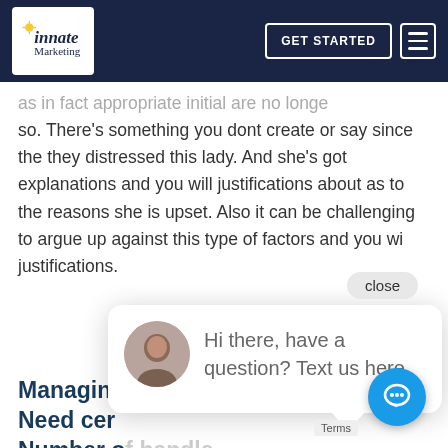Innate Marketing — GET STARTED navigation bar
as in fact appropriate initial are no longer so. There's something you dont create or say since the they distressed this lady. And she's got explanations and you will justifications about as to the reasons she is upset. Also it can be challenging to argue up against this type of factors and you wi justifications.
[Figure (screenshot): Chat widget popup with avatar of a man and text: Hi there, have a question? Text us here. Close button visible top right.]
Managing ... u Need cer... Number o... handle
I understand you to definitely due to th... people matchmaking grows there is certa... honeymoon period following a period when anyo...